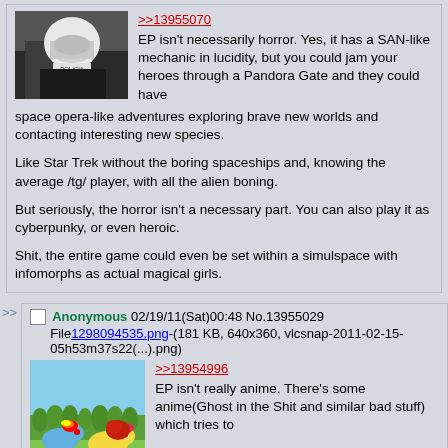[Figure (photo): Person wearing a white police helmet on a motorcycle, dark background]
>>13955070
EP isn't necessarily horror. Yes, it has a SAN-like mechanic in lucidity, but you could jam your heroes through a Pandora Gate and they could have space opera-like adventures exploring brave new worlds and contacting interesting new species.

Like Star Trek without the boring spaceships and, knowing the average /tg/ player, with all the alien boning.

But seriously, the horror isn't a necessary part. You can also play it as cyberpunky, or even heroic.

Shit, the entire game could even be set within a simulspace with infomorphs as actual magical girls.
Anonymous 02/19/11(Sat)00:48 No.13955029
File1298094535.png-(181 KB, 640x360, vlcsnap-2011-02-15-05h53m37s22(...).png)
[Figure (screenshot): My Little Pony cartoon screenshot showing colorful pony characters on green grass with blue sky]
>>13954996
EP isn't really anime. There's some anime(Ghost in the Shit and similar bad stuff) which tries to incorporate cyberpunky elements, but at its heart EP is a cyberpunk game with an interplanetary/interstellar